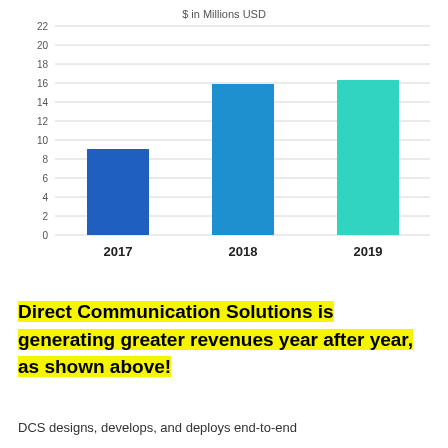[Figure (bar-chart): $ in Millions USD]
Direct Communication Solutions is generating greater revenues year after year, as shown above!
DCS designs, develops, and deploys end-to-end